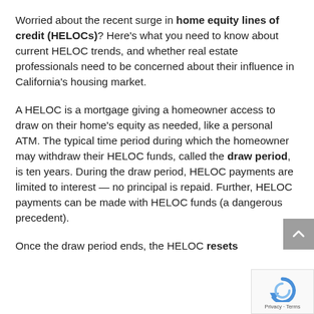Worried about the recent surge in home equity lines of credit (HELOCs)? Here's what you need to know about current HELOC trends, and whether real estate professionals need to be concerned about their influence in California's housing market.
A HELOC is a mortgage giving a homeowner access to draw on their home's equity as needed, like a personal ATM. The typical time period during which the homeowner may withdraw their HELOC funds, called the draw period, is ten years. During the draw period, HELOC payments are limited to interest — no principal is repaid. Further, HELOC payments can be made with HELOC funds (a dangerous precedent).
Once the draw period ends, the HELOC resets